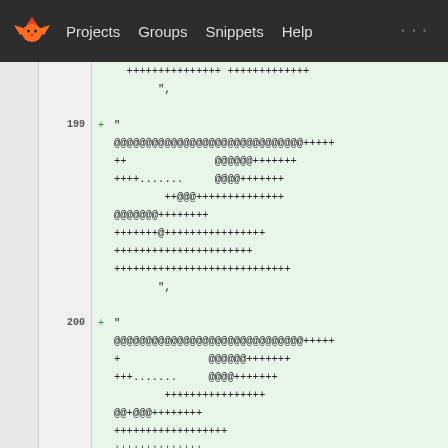Projects  Groups  Snippets  Help
Lines 199-200 of a code diff showing added lines with @ and + symbols in a GitLab-style interface